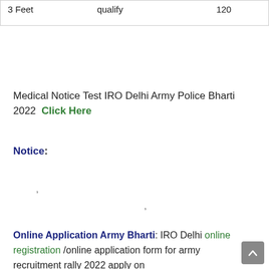| 3 Feet | qualify | 120 |
Medical Notice Test IRO Delhi Army Police Bharti 2022  Click Here
Notice:
' ,'
Online Application Army Bharti: IRO Delhi online registration /online application form for army recruitment rally 2022 apply on